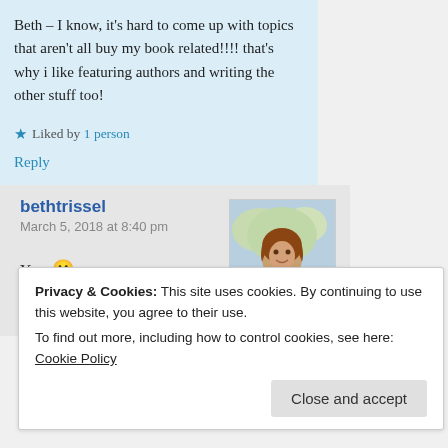Beth – I know, it's hard to come up with topics that aren't all buy my book related!!!! that's why i like featuring authors and writing the other stuff too!
★ Liked by 1 person
Reply
bethtrissel
March 5, 2018 at 8:40 pm
[Figure (photo): Avatar photo of bethtrissel - woman in purple top outdoors with trees in background]
Yep. 🙂
★ Like
Privacy & Cookies: This site uses cookies. By continuing to use this website, you agree to their use.
To find out more, including how to control cookies, see here: Cookie Policy
Close and accept